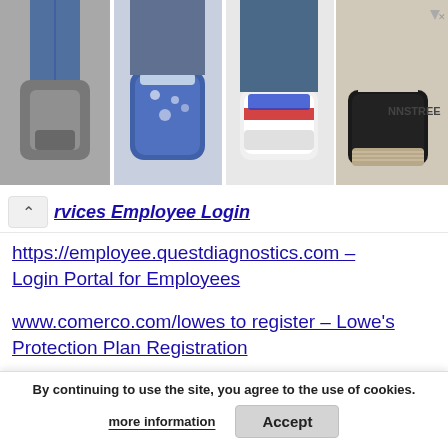[Figure (photo): Advertisement banner showing four shoe photos side by side with NNSTREE branding in top right corner]
▲ vices Employee Login (partially visible link)
https://employee.questdiagnostics.com – Login Portal for Employees
www.comerco.com/lowes to register – Lowe's Protection Plan Registration
Categories
Activation
By continuing to use the site, you agree to the use of cookies.
more information
Accept